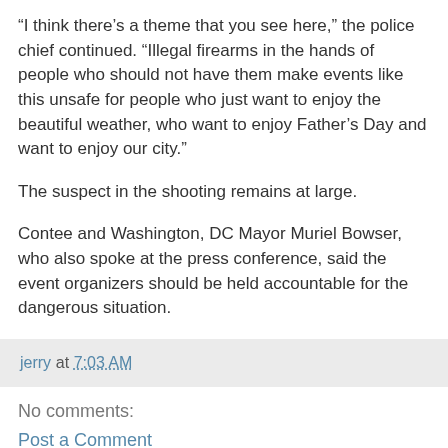“I think there’s a theme that you see here,” the police chief continued. “Illegal firearms in the hands of people who should not have them make events like this unsafe for people who just want to enjoy the beautiful weather, who want to enjoy Father’s Day and want to enjoy our city.”
The suspect in the shooting remains at large.
Contee and Washington, DC Mayor Muriel Bowser, who also spoke at the press conference, said the event organizers should be held accountable for the dangerous situation.
jerry at 7:03 AM
No comments:
Post a Comment